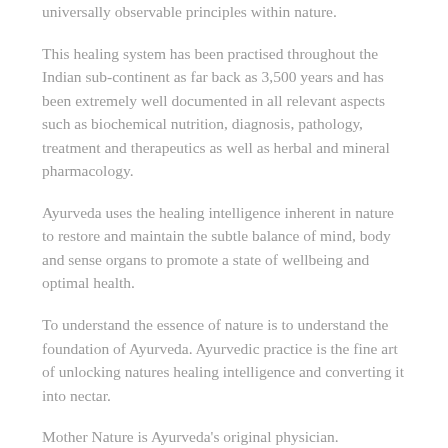universally observable principles within nature.
This healing system has been practised throughout the Indian sub-continent as far back as 3,500 years and has been extremely well documented in all relevant aspects such as biochemical nutrition, diagnosis, pathology, treatment and therapeutics as well as herbal and mineral pharmacology.
Ayurveda uses the healing intelligence inherent in nature to restore and maintain the subtle balance of mind, body and sense organs to promote a state of wellbeing and optimal health.
To understand the essence of nature is to understand the foundation of Ayurveda. Ayurvedic practice is the fine art of unlocking natures healing intelligence and converting it into nectar.
Mother Nature is Ayurveda's original physician.
DEFINITION OF AYURVEDA
That (science) is designated as Ayurveda where advantageous